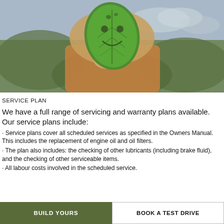[Figure (photo): Child holding a green leaf with a smiley face in front of her face, outdoors with blurred natural background]
SERVICE PLAN
We have a full range of servicing and warranty plans available. Our service plans include:
· Service plans cover all scheduled services as specified in the Owners Manual. This includes the replacement of engine oil and oil filters.
· The plan also includes: the checking of other lubricants (including brake fluid), and the checking of other serviceable items.
· All labour costs involved in the scheduled service.
BUILD YOURS
BOOK A TEST DRIVE